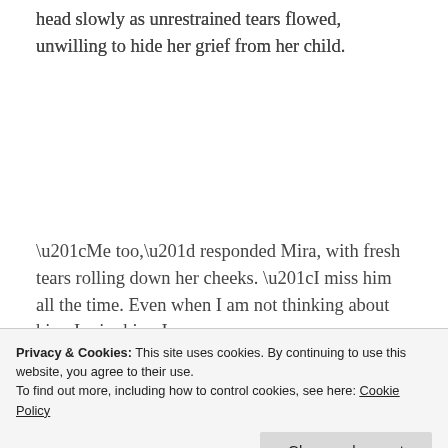head slowly as unrestrained tears flowed, unwilling to hide her grief from her child.
“Me too,” responded Mira, with fresh tears rolling down her cheeks. “I miss him all the time. Even when I am not thinking about him, I miss him. I
Privacy & Cookies: This site uses cookies. By continuing to use this website, you agree to their use.
To find out more, including how to control cookies, see here: Cookie Policy
mother’s chest. Her right thumb creeping into her